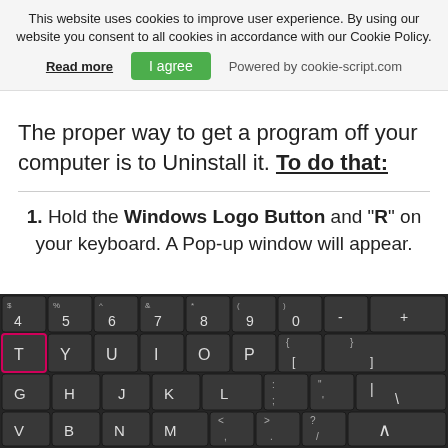This website uses cookies to improve user experience. By using our website you consent to all cookies in accordance with our Cookie Policy.
Read more   I agree   Powered by cookie-script.com
The proper way to get a program off your computer is to Uninstall it. To do that:
1. Hold the Windows Logo Button and "R" on your keyboard. A Pop-up window will appear.
[Figure (photo): A dark keyboard image showing keys: row with 4,5,6,7,8,9,0,-; row with T (highlighted in pink border),Y,U,I,O,P,{,[,},]; row with G,H,J,K,L,:,;,quote,|,backslash; row with V,B,N,M,<,,>,?,/,caret; bottom row with AltGr, Ctrl, <, v arrow]